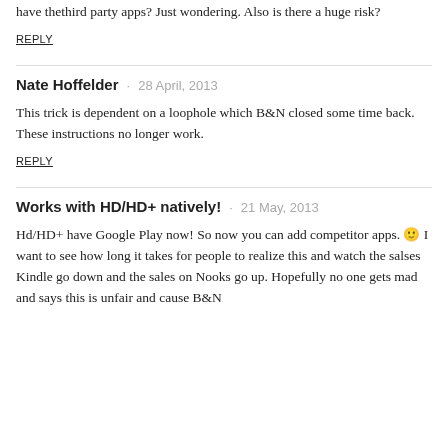have thethird party apps? Just wondering. Also is there a huge risk?
REPLY
Nate Hoffelder · 28 April, 2013
This trick is dependent on a loophole which B&N closed some time back. These instructions no longer work.
REPLY
Works with HD/HD+ natively! · 21 May, 2013
Hd/HD+ have Google Play now! So now you can add competitor apps. 🙂 I want to see how long it takes for people to realize this and watch the salses Kindle go down and the sales on Nooks go up. Hopefully no one gets mad and says this is unfair and cause B&N